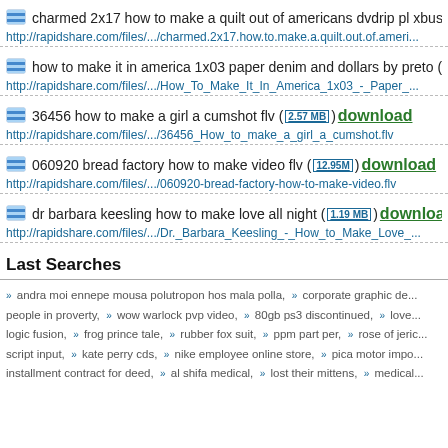charmed 2x17 how to make a quilt out of americans dvdrip pl xbus ( http://rapidshare.com/files/.../charmed.2x17.how.to.make.a.quilt.out.of.ameri...
how to make it in america 1x03 paper denim and dollars by preto (23...) http://rapidshare.com/files/.../How_To_Make_It_In_America_1x03_-_Paper_...
36456 how to make a girl a cumshot flv (2.57 MB) download http://rapidshare.com/files/.../36456_How_to_make_a_girl_a_cumshot.flv
060920 bread factory how to make video flv (12.95M) download http://rapidshare.com/files/.../060920-bread-factory-how-to-make-video.flv
dr barbara keesling how to make love all night (1.19 MB) download http://rapidshare.com/files/.../Dr._Barbara_Keesling_-_How_to_Make_Love_...
Last Searches
andra moi ennepe mousa polutropon hos mala polla, corporate graphic de... people in proverty, wow warlock pvp video, 80gb ps3 discontinued, love... logic fusion, frog prince tale, rubber fox suit, ppm part per, rose of jeric... script input, kate perry cds, nike employee online store, pica motor impo... installment contract for deed, al shifa medical, lost their mittens, medical...